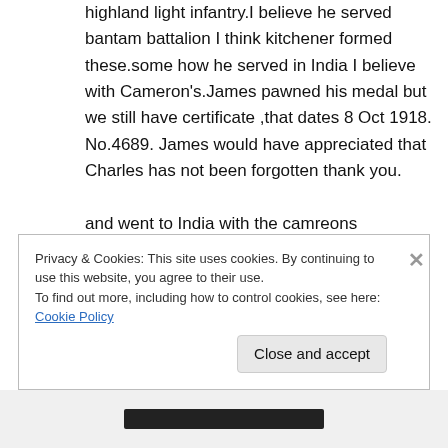highland light infantry.I believe he served bantam battalion I think kitchener formed these.some how he served in India I believe with Cameron's.James pawned his medal but we still have certificate ,that dates 8 Oct 1918. No.4689. James would have appreciated that Charles has not been forgotten thank you.

and went to India with the camreons
↳ Reply
Privacy & Cookies: This site uses cookies. By continuing to use this website, you agree to their use.
To find out more, including how to control cookies, see here: Cookie Policy
Close and accept